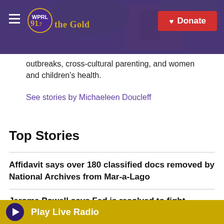WPRL 91.7 The Gold — Donate
outbreaks, cross-cultural parenting, and women and children's health.
See stories by Michaeleen Doucleff
Top Stories
Affidavit says over 180 classified docs removed by National Archives from Mar-a-Lago
Jerome Powell says Fed is resolved to fight inflation even if it brings economic pain
Play Live Radio